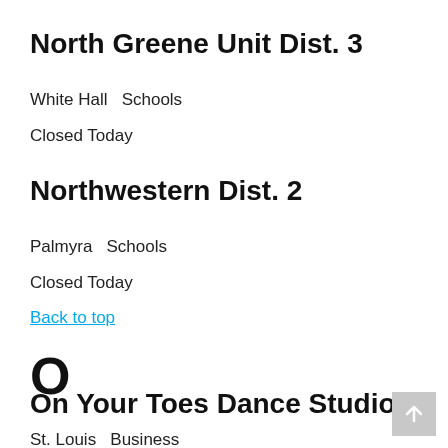North Greene Unit Dist. 3
White Hall  Schools
Closed Today
Northwestern Dist. 2
Palmyra  Schools
Closed Today
Back to top
O
On Your Toes Dance Studio
St. Louis  Business